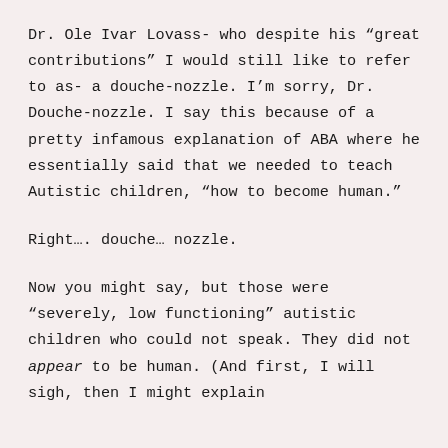Dr. Ole Ivar Lovass- who despite his “great contributions” I would still like to refer to as- a douche-nozzle. I’m sorry, Dr. Douche-nozzle. I say this because of a pretty infamous explanation of ABA where he essentially said that we needed to teach Autistic children, “how to become human.”
Right…. douche… nozzle.
Now you might say, but those were “severely, low functioning” autistic children who could not speak. They did not appear to be human. (And first, I will sigh, then I might explain